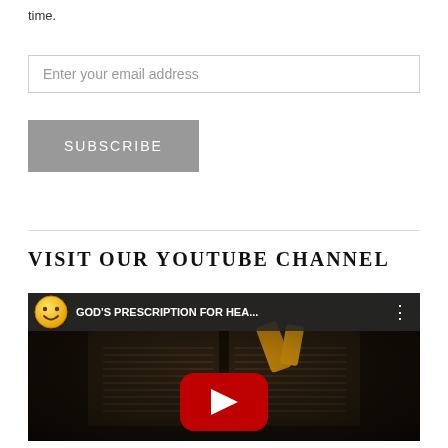time.
Enter your email address
SUBSCRIBE
VISIT OUR YOUTUBE CHANNEL
[Figure (screenshot): YouTube video thumbnail showing GOD'S PRESCRIPTION FOR HEA... with a smiley face channel icon, dark background with open book and prescription bottles, YouTube play button in center.]